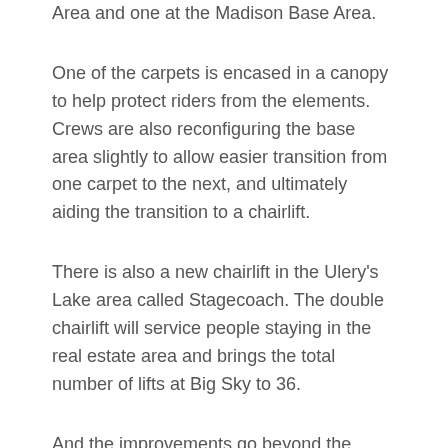Area and one at the Madison Base Area.
One of the carpets is encased in a canopy to help protect riders from the elements. Crews are also reconfiguring the base area slightly to allow easier transition from one carpet to the next, and ultimately aiding the transition to a chairlift.
There is also a new chairlift in the Ulery’s Lake area called Stagecoach. The double chairlift will service people staying in the real estate area and brings the total number of lifts at Big Sky to 36.
And the improvements go beyond the mountain.
The resort continues to improve its slopeside services with a complete renovation of the Big Sky Sports Demo Center. That follows last year’s renovation of the Big Sky